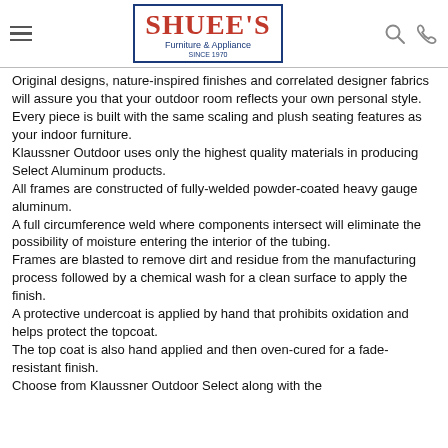SHUEE'S Furniture & Appliance SINCE 1970
Original designs, nature-inspired finishes and correlated designer fabrics will assure you that your outdoor room reflects your own personal style.
Every piece is built with the same scaling and plush seating features as your indoor furniture.
Klaussner Outdoor uses only the highest quality materials in producing Select Aluminum products.
All frames are constructed of fully-welded powder-coated heavy gauge aluminum.
A full circumference weld where components intersect will eliminate the possibility of moisture entering the interior of the tubing.
Frames are blasted to remove dirt and residue from the manufacturing process followed by a chemical wash for a clean surface to apply the finish.
A protective undercoat is applied by hand that prohibits oxidation and helps protect the topcoat.
The top coat is also hand applied and then oven-cured for a fade-resistant finish.
Choose from Klaussner Outdoor Select along with the